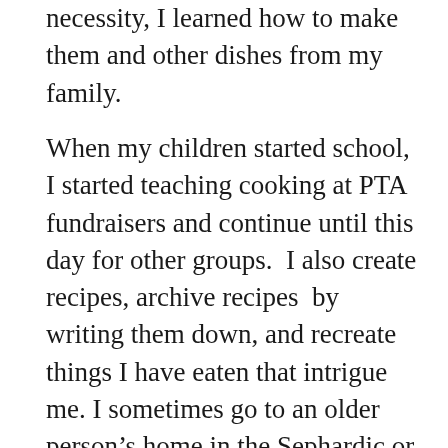necessity, I learned how to make them and other dishes from my family.
When my children started school, I started teaching cooking at PTA fundraisers and continue until this day for other groups.  I also create recipes, archive recipes  by writing them down, and recreate things I have eaten that intrigue me. I sometimes go to an older person’s home in the Sephardic or Jewish community at large and observe how to make a dish. I actually measure the ingredients, quantify and codify. My husband of the last 31 years is Polish and Czech, a dutiful son of Holocaust survivors. I have learned many